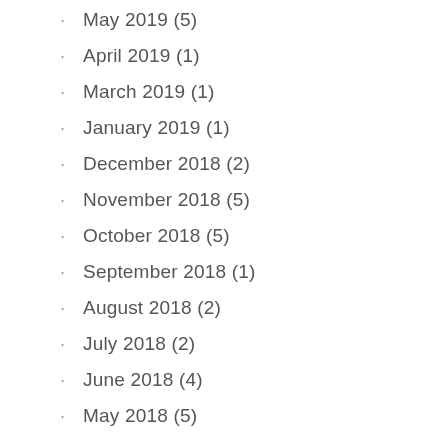May 2019 (5)
April 2019 (1)
March 2019 (1)
January 2019 (1)
December 2018 (2)
November 2018 (5)
October 2018 (5)
September 2018 (1)
August 2018 (2)
July 2018 (2)
June 2018 (4)
May 2018 (5)